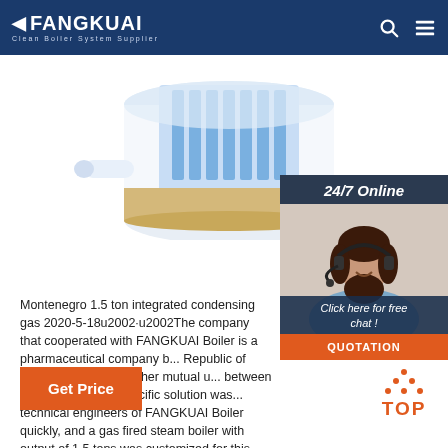FANGKUAI Clean Boiler System Supplier
[Figure (photo): Cutaway view of a white cylindrical condensing gas boiler unit with internal components visible]
[Figure (photo): 24/7 Online customer service representative (woman with headset) with 'Click here for free chat!' overlay and QUOTATION button]
Montenegro 1.5 ton integrated condensing gas 2020-5-18u2002·u2002The company that cooperated with FANGKUAI Boiler is a pharmaceutical company b... Republic of Montenegro. After further mutual u... between the two parties, a specific solution was ... technical engineers of FANGKUAI Boiler quickly, and a gas fired steam boiler with output of 1.5 tons was customized for this ...
Get Price